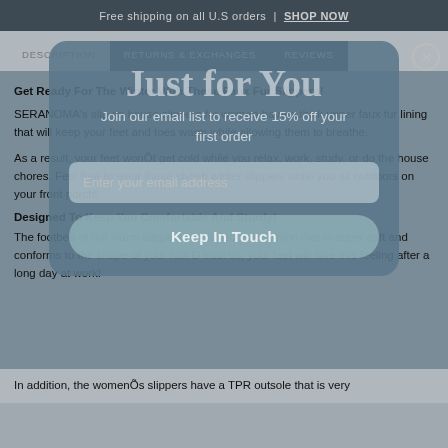Free shipping on all U.S orders | SHOP NOW
DESCRIPTION  RETURNS & EXCHANGES  REVIEWS
[Figure (screenshot): Email signup popup overlay with title 'Just for You', subtitle 'Join our email list to receive 15% off your first order', email input field placeholder 'Enter your email address', and button 'Keep In Touch']
Get Ready For The Winter With These Faux Fur Slippers!
SERANOMA's slip on house slippers for women have a thick upper faux fur lining that will keep your feet and toes warm while allowing them to breathe.
As a result, your feet wonÕt get cold while you relax, work, study, or do the house chores. Feel free to wear these stylish winter slippers while you sit outdoors on your front porch!
Designed To Keep You Comfortable And Sturdy!
The footbed of our warm slippers has a padded cushion that is super soft and conforms to the shape of your foot Ð trust us, your feet will love this feeling after a long day at work!
In addition, the womenÕs slippers have a TPR outsole that is very